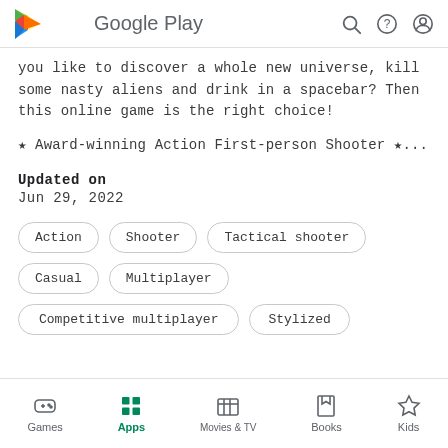Google Play
you like to discover a whole new universe, kill some nasty aliens and drink in a spacebar? Then this online game is the right choice!
★ Award-winning Action First-person Shooter ★...
Updated on
Jun 29, 2022
Action
Shooter
Tactical shooter
Casual
Multiplayer
Competitive multiplayer
Stylized
Games  Apps  Movies & TV  Books  Kids